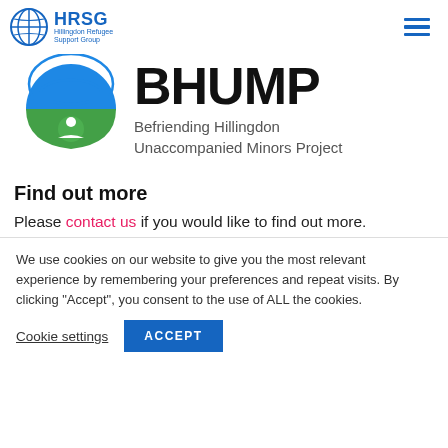HRSG Hillingdon Refugee Support Group
[Figure (logo): BHUMP logo: blue globe with green lower half and green circle (person figure), with text BHUMP and Befriending Hillingdon Unaccompanied Minors Project]
Find out more
Please contact us if you would like to find out more.
We use cookies on our website to give you the most relevant experience by remembering your preferences and repeat visits. By clicking “Accept”, you consent to the use of ALL the cookies.
Cookie settings  ACCEPT